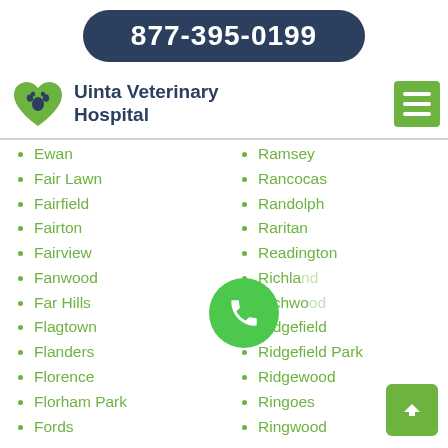877-395-0199
[Figure (logo): Uinta Veterinary Hospital logo with green heart and paw print]
Uinta Veterinary Hospital
Ewan
Fair Lawn
Fairfield
Fairton
Fairview
Fanwood
Far Hills
Flagtown
Flanders
Florence
Florham Park
Fords
Ramsey
Rancocas
Randolph
Raritan
Readington
Richland
Richwood
Ridgefield
Ridgefield Park
Ridgewood
Ringoes
Ringwood